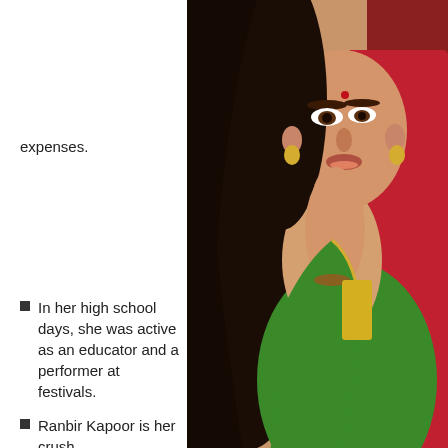expenses.
[Figure (photo): A young woman wearing traditional Indian attire — a green and red salwar with gold jewelry including earrings and a bindi on her forehead. She is smiling and resting her chin on her hand.]
In her high school days, she was active as an educator and a performer at festivals.
Ranbir Kapoor is her crush.